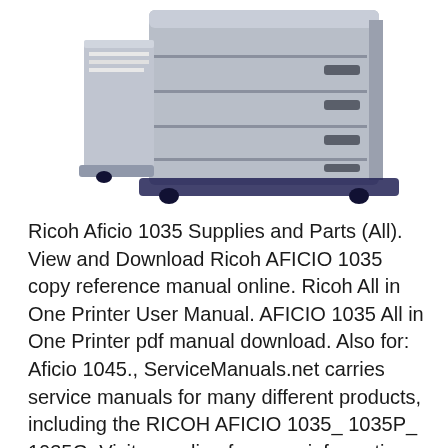[Figure (photo): Photo of a Ricoh Aficio 1035 multifunction printer/copier — a large grey office machine with multiple paper drawers on the right side and a paper output tray on the left.]
Ricoh Aficio 1035 Supplies and Parts (All). View and Download Ricoh AFICIO 1035 copy reference manual online. Ricoh All in One Printer User Manual. AFICIO 1035 All in One Printer pdf manual download. Also for: Aficio 1045., ServiceManuals.net carries service manuals for many different products, including the RICOH AFICIO 1035_ 1035P_ 1035G. Visit us online for more information or to download service